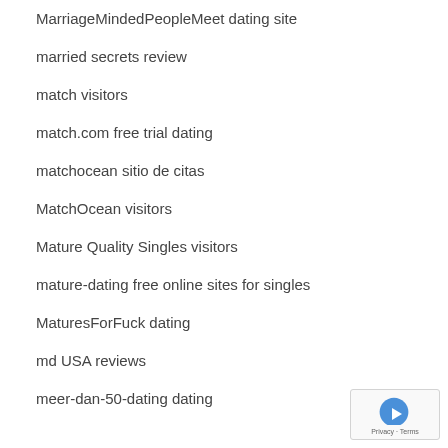MarriageMindedPeopleMeet dating site
married secrets review
match visitors
match.com free trial dating
matchocean sitio de citas
MatchOcean visitors
Mature Quality Singles visitors
mature-dating free online sites for singles
MaturesForFuck dating
md USA reviews
meer-dan-50-dating dating